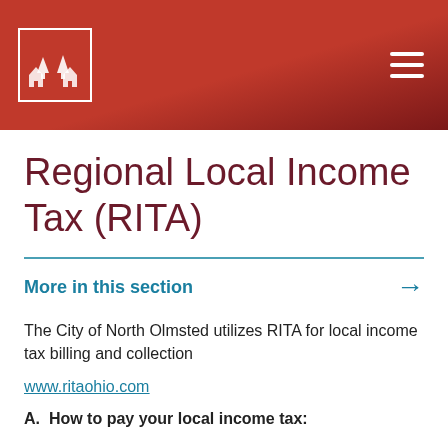[Figure (logo): RITA logo with two houses and trees on red background, white border box, with hamburger menu icon top right]
Regional Local Income Tax (RITA)
More in this section
The City of North Olmsted utilizes RITA for local income tax billing and collection
www.ritaohio.com
A.  How to pay your local income tax: